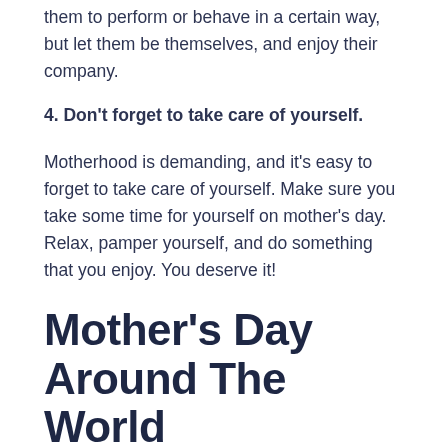them to perform or behave in a certain way, but let them be themselves, and enjoy their company.
4. Don't forget to take care of yourself.
Motherhood is demanding, and it's easy to forget to take care of yourself. Make sure you take some time for yourself on mother's day. Relax, pamper yourself, and do something that you enjoy. You deserve it!
Mother's Day Around The World
Cultures around the world have different ways of celebrating Mother's Day.
In some cultures, people give their mothers gifts to express gratitude for all they do for them. In others, it is